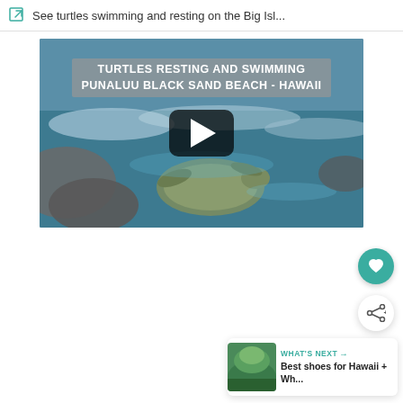See turtles swimming and resting on the Big Isl...
[Figure (screenshot): Video thumbnail showing turtles resting and swimming at Punaluu Black Sand Beach, Hawaii. Text overlay reads 'TURTLES RESTING AND SWIMMING PUNALUU BLACK SAND BEACH - HAWAII' with a YouTube-style play button in the center.]
[Figure (photo): Thumbnail image of green landscape for 'Best shoes for Hawaii + Wh...' next video suggestion]
WHAT'S NEXT → Best shoes for Hawaii + Wh...